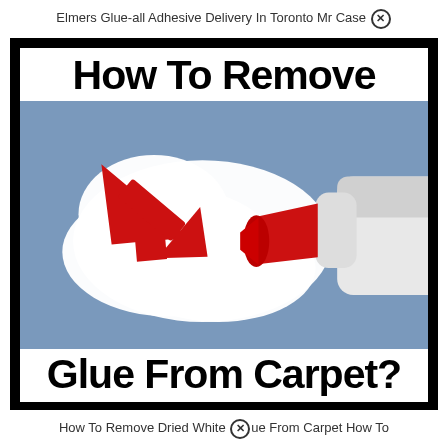Elmers Glue-all Adhesive Delivery In Toronto Mr Case ⊗
[Figure (infographic): Black-bordered card with bold text 'How To Remove' at top, a photo of a white glue bottle cap dispensing white glue on a blue surface with a large red arrow pointing to the glue puddle, and bold text 'Glue From Carpet?' at bottom.]
How To Remove Dried White ⊗ue From Carpet How To